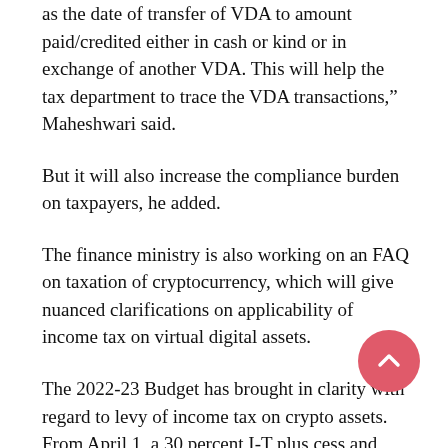as the date of transfer of VDA to amount paid/credited either in cash or kind or in exchange of another VDA. This will help the tax department to trace the VDA transactions," Maheshwari said.
But it will also increase the compliance burden on taxpayers, he added.
The finance ministry is also working on an FAQ on taxation of cryptocurrency, which will give nuanced clarifications on applicability of income tax on virtual digital assets.
The 2022-23 Budget has brought in clarity with regard to levy of income tax on crypto assets. From April 1, a 30 percent I-T plus cess and surcharges, is levied on such transactions in the same manner as it treats winnings from horse races or other speculative transactions.
A 1 percent TDS on payments over Rs. 10,000 towards virtual currencies has also been introduced which